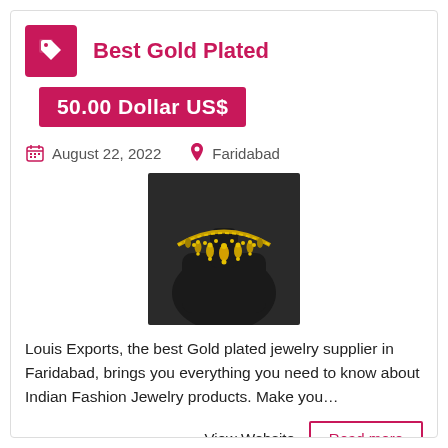Best Gold Plated
50.00 Dollar US$
August 22, 2022   Faridabad
[Figure (photo): Gold plated necklace jewelry displayed on a dark mannequin bust]
Louis Exports, the best Gold plated jewelry supplier in Faridabad, brings you everything you need to know about Indian Fashion Jewelry products. Make you...
View Website   Read more